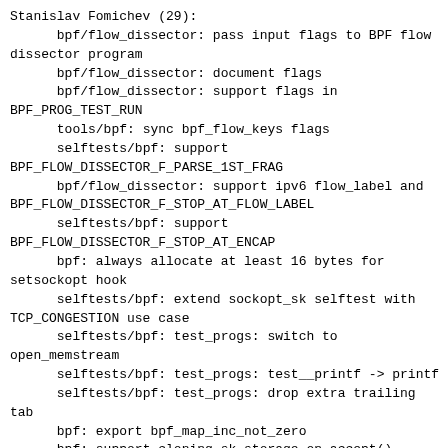Stanislav Fomichev (29):
      bpf/flow_dissector: pass input flags to BPF flow dissector program
      bpf/flow_dissector: document flags
      bpf/flow_dissector: support flags in BPF_PROG_TEST_RUN
      tools/bpf: sync bpf_flow_keys flags
      selftests/bpf: support BPF_FLOW_DISSECTOR_F_PARSE_1ST_FRAG
      bpf/flow_dissector: support ipv6 flow_label and BPF_FLOW_DISSECTOR_F_STOP_AT_FLOW_LABEL
      selftests/bpf: support BPF_FLOW_DISSECTOR_F_STOP_AT_ENCAP
      bpf: always allocate at least 16 bytes for setsockopt hook
      selftests/bpf: extend sockopt_sk selftest with TCP_CONGESTION use case
      selftests/bpf: test_progs: switch to open_memstream
      selftests/bpf: test_progs: test__printf -> printf
      selftests/bpf: test_progs: drop extra trailing tab
      bpf: export bpf_map_inc_not_zero
      bpf: support cloning sk storage on accept()
      bpf: sync bpf.h to tools/
      selftests/bpf: add sockopt clone/inheritance test
      selftests/bpf: test_progs: test__skip
      selftests/bpf: test_progs: remove global fail/success counts
      selftests/bpf: test_progs: remove asserts from